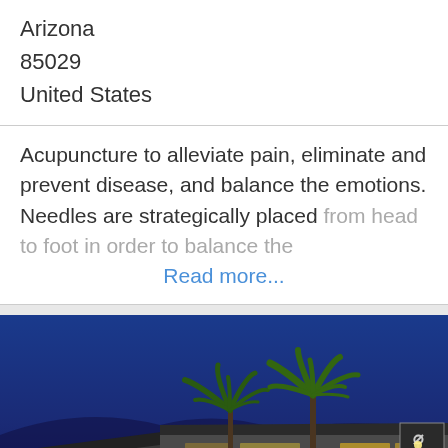Arizona
85029
United States
Acupuncture to alleviate pain, eliminate and prevent disease, and balance the emotions. Needles are strategically placed from head to foot in order to balance the
Read more...
[Figure (photo): Nighttime photo of an Acura car dealership (Peoria Acura) with palm trees lit up against a deep blue dusk sky. The building has a modern dark grey facade with blue accent lighting and signs reading 'PRE-OWNED', 'PEORIA', and 'ACURA'.]